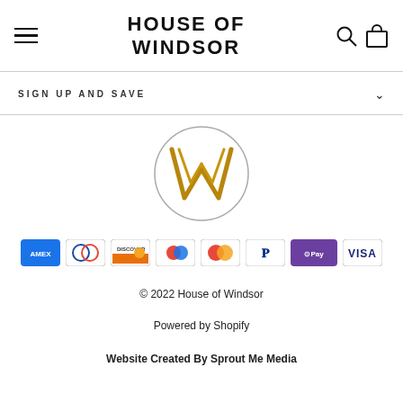HOUSE OF WINDSOR
SIGN UP AND SAVE
[Figure (logo): House of Windsor circular logo with gold W monogram]
[Figure (infographic): Payment method icons: Amex, Diners Club, Discover, Google Pay, Mastercard, PayPal, Apple Pay, Visa]
© 2022 House of Windsor
Powered by Shopify
Website Created By Sprout Me Media